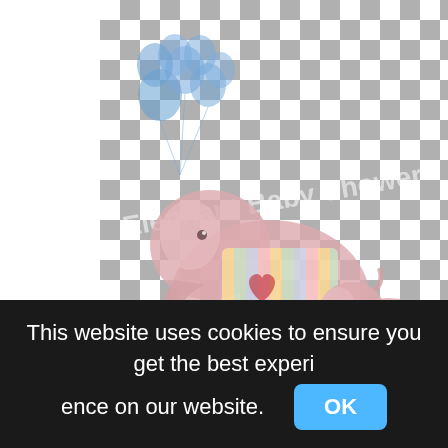[Figure (illustration): Elephant Baby Shower clipart image showing two pink elephants with colorful striped blankets and hearts, with blue balloons, displayed on a grey and white checkerboard transparency background.]
Elephant Baby Shower Invites Image,baby chick png
1103x695px
This website uses cookies to ensure you get the best experience on our website.